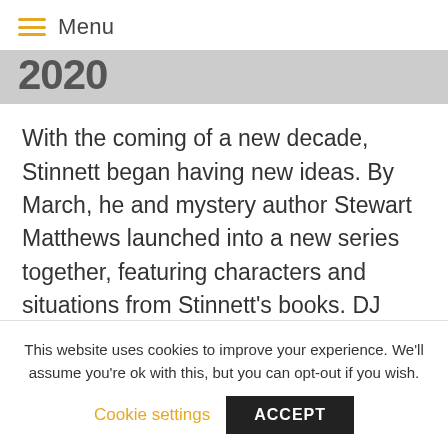Menu
2020
With the coming of a new decade, Stinnett began having new ideas. By March, he and mystery author Stewart Matthews launched into a new series together, featuring characters and situations from Stinnett's books. DJ Martin and Jerry Snyder, from the 15th novel in the Jesse McDermitt series, became the main characters in the new Caribbean Mystery Series,
This website uses cookies to improve your experience. We'll assume you're ok with this, but you can opt-out if you wish.
Cookie settings   ACCEPT